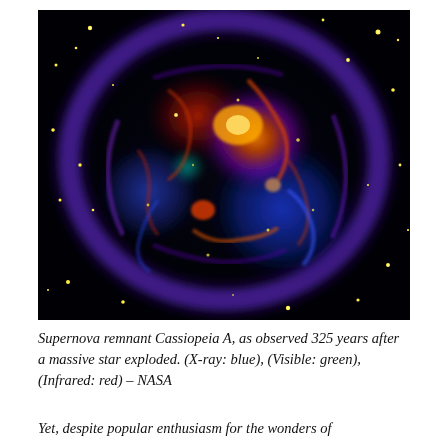[Figure (photo): False-color astronomical image of supernova remnant Cassiopeia A against a black starfield. The remnant appears as a roughly circular shell of glowing gas and debris with colors indicating different wavelengths: blue for X-ray emission, green for visible light, and red/orange for infrared. Bright yellow stars are scattered across the black background.]
Supernova remnant Cassiopeia A, as observed 325 years after a massive star exploded. (X-ray: blue), (Visible: green), (Infrared: red) – NASA
Yet, despite popular enthusiasm for the wonders of